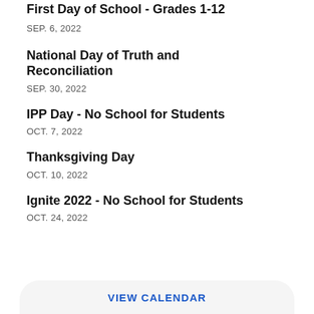First Day of School - Grades 1-12
SEP. 6, 2022
National Day of Truth and Reconciliation
SEP. 30, 2022
IPP Day - No School for Students
OCT. 7, 2022
Thanksgiving Day
OCT. 10, 2022
Ignite 2022 - No School for Students
OCT. 24, 2022
VIEW CALENDAR